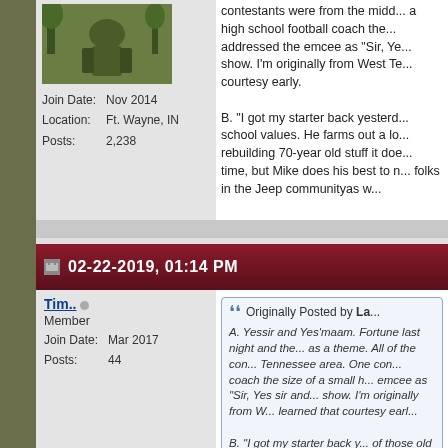[Figure (photo): Avatar photo of a person outdoors, partially visible at top]
Join Date: Nov 2014
Location: Ft. Wayne, IN
Posts: 2,238
contestants were from the midd... a high school football coach the... addressed the emcee as "Sir, Ye... show. I'm originally from West Te... courtesy early.

B. "I got my starter back yesterd... school values. He farms out a lo... rebuilding 70-year old stuff it doe... time, but Mike does his best to n... folks in the Jeep communityas w...
02-22-2019, 01:14 PM
Tim.. ○
Member
Join Date: Mar 2017
Posts: 44
Originally Posted by La...
A. Yessir and Yes'maam. Fortune last night and the... as a theme. All of the con... Tennessee area. One con... coach the size of a small h... emcee as "Sir, Yes sir and... show. I'm originally from W... learned that courtesy earl...

B. "I got my starter back y... of those old school values.... work and when you're reb...